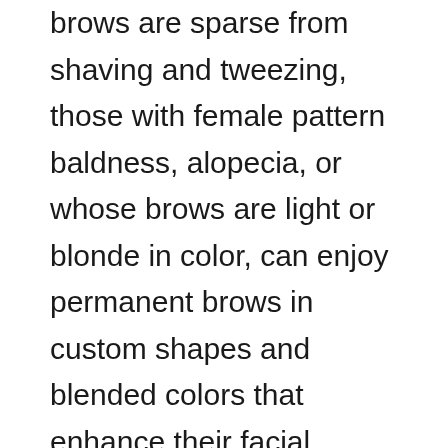brows are sparse from shaving and tweezing, those with female pattern baldness, alopecia, or whose brows are light or blonde in color, can enjoy permanent brows in custom shapes and blended colors that enhance their facial features.

This procedure is the newest revolutionary 3-D effect and is great for filling in sparse areas of the brows to naturally blend with your own hair.